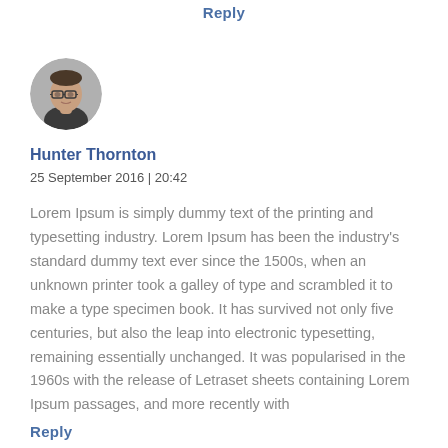Reply
[Figure (photo): Circular avatar photo of a young man with glasses, dark hair, wearing a dark shirt, grey background]
Hunter Thornton
25 September 2016  | 20:42
Lorem Ipsum is simply dummy text of the printing and typesetting industry. Lorem Ipsum has been the industry's standard dummy text ever since the 1500s, when an unknown printer took a galley of type and scrambled it to make a type specimen book. It has survived not only five centuries, but also the leap into electronic typesetting, remaining essentially unchanged. It was popularised in the 1960s with the release of Letraset sheets containing Lorem Ipsum passages, and more recently with
Reply